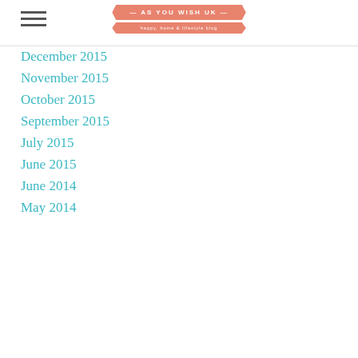AS YOU WISH UK — happy, home & lifestyle blog
December 2015
November 2015
October 2015
September 2015
July 2015
June 2015
June 2014
May 2014